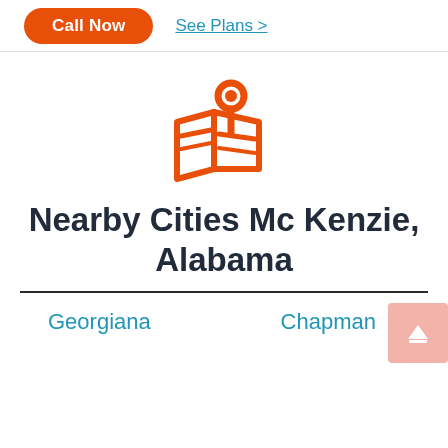Call Now  See Plans >
[Figure (illustration): Orange map pin / location icon with a folded map outline beneath it]
Nearby Cities Mc Kenzie, Alabama
Georgiana
Chapman